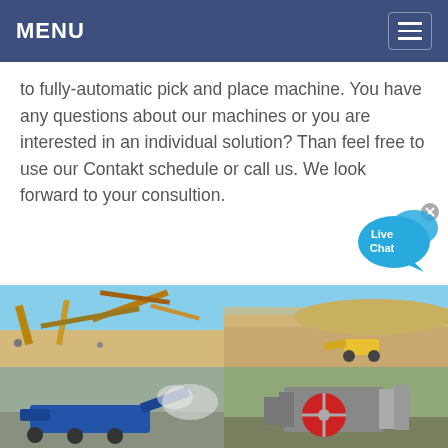MENU
to fully-automatic pick and place machine. You have any questions about our machines or you are interested in an individual solution? Than feel free to use our Contakt schedule or call us. We look forward to your consultion.
[Figure (photo): Live Chat speech bubble widget with 'Live Chat' text, blue color with an X close button]
[Figure (photo): Grid of four mining/quarrying site photos showing large excavation machinery, conveyor systems, rock crushers, and heavy equipment operating in open-pit quarry environments.]